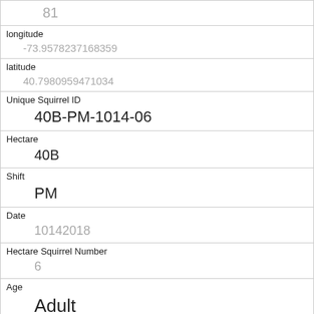| 81 |
| longitude | -73.9578237168359 |
| latitude | 40.7980959471034 |
| Unique Squirrel ID | 40B-PM-1014-06 |
| Hectare | 40B |
| Shift | PM |
| Date | 10142018 |
| Hectare Squirrel Number | 6 |
| Age | Adult |
| Primary Fur Color | Gray |
| Highlight Fur Color |  |